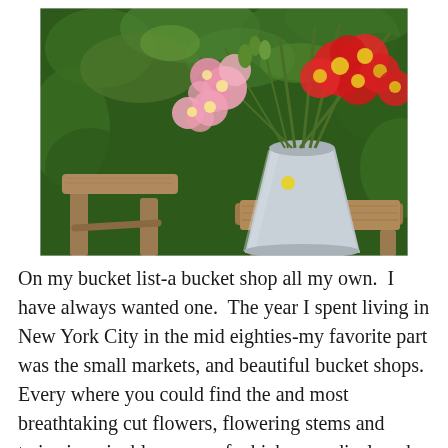[Figure (photo): A metal bucket filled with pink and red poppy flowers displayed on rustic wooden stools against a green leafy background.]
On my bucket list-a bucket shop all my own.  I have always wanted one.  The year I spent living in New York City in the mid eighties-my favorite part was the small markets, and beautiful bucket shops.  Every where you could find the and most breathtaking cut flowers, flowering stems and twigs imaginable, many of which were displayed on the street in buckets. My hands down favorite- oak branches studded with freshly set green